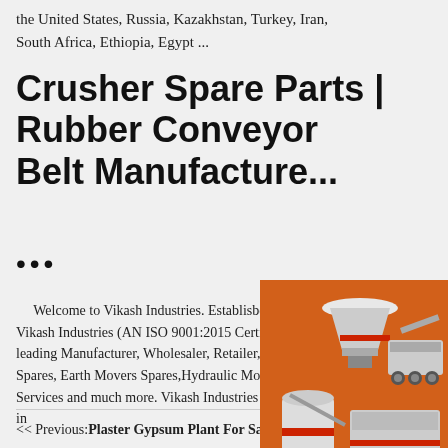the United States, Russia, Kazakhstan, Turkey, Iran, South Africa, Ethiopia, Egypt ...
Crusher Spare Parts | Rubber Conveyor Belt Manufacture ...
...
Welcome to Vikash Industries. Established Vikash Industries (AN ISO 9001:2015 Certified leading Manufacturer, Wholesaler, Retailer,of Spares, Earth Movers Spares,Hydraulic Moto Services and much more. Vikash Industries takes pride in
[Figure (photo): Orange advertisement panel showing industrial machinery (crushers, conveyors) with text 'Enjoy 3% discount', 'Click to Chat', 'Enquiry', and 'limingjlmofen@sina.com']
<< Previous:Plaster Gypsum Plant For Sale India